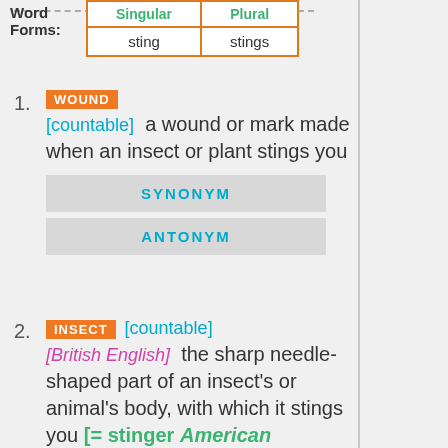| Singular | Plural |
| --- | --- |
| sting | stings |
1. WOUND [countable] a wound or mark made when an insect or plant stings you
SYNONYM
ANTONYM
2. INSECT [countable] [British English] the sharp needle-shaped part of an insect's or animal's body, with which it stings you [= stinger American